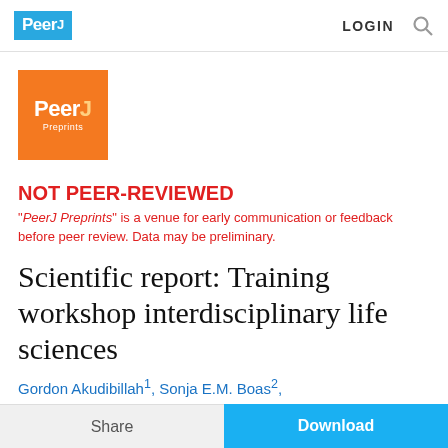PeerJ  LOGIN  🔍
[Figure (logo): PeerJ Preprints orange square logo]
NOT PEER-REVIEWED
"PeerJ Preprints" is a venue for early communication or feedback before peer review. Data may be preliminary.
Scientific report: Training workshop interdisciplinary life sciences
Gordon Akudibillah 1, Sonja E.M. Boas 2, Benoit M. Carreres 3, Marchien Dallinga 4, Aalt Jan van Dijk ✉ 5, Shishir K. Gupta 6, Alexander Hunt 7
Share  Download